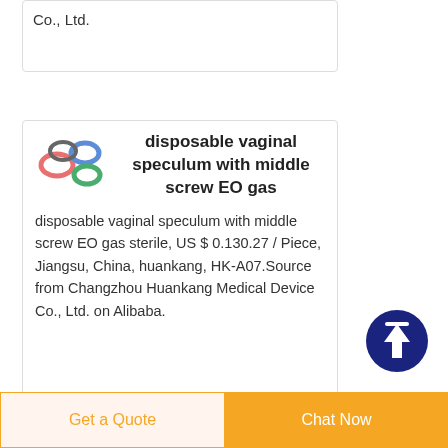Co., Ltd.
[Figure (photo): Small product image showing colorful disposable vaginal speculums in multiple colors (pink, blue, green)]
disposable vaginal speculum with middle screw EO gas
disposable vaginal speculum with middle screw EO gas sterile, US $ 0.130.27 / Piece, Jiangsu, China, huankang, HK-A07.Source from Changzhou Huankang Medical Device Co., Ltd. on Alibaba.
[Figure (other): Dark blue circular scroll-to-top button with upward arrow icon]
Get a Quote
Chat Now